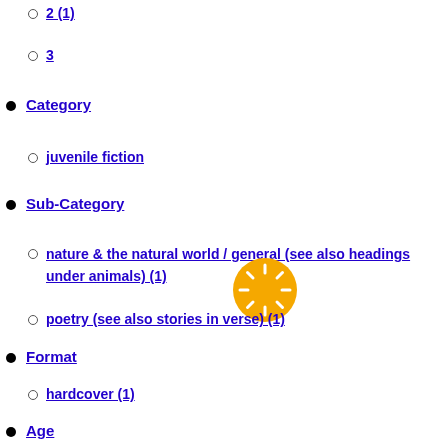2 (1)
3
Category
juvenile fiction
Sub-Category
nature & the natural world / general (see also headings under animals) (1)
poetry (see also stories in verse) (1)
Format
hardcover (1)
Age
ages 3 - 5 (1)